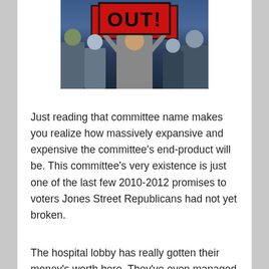[Figure (photo): A crowd photo showing a person holding a large red sign with 'OUT!' written on it in black letters, mouth open as if shouting, surrounded by other people in a crowd.]
Just reading that committee name makes you realize how massively expansive and expensive the committee's end-product will be.  This committee's very existence is just one of the last few 2010-2012 promises to voters Jones Street Republicans had not yet broken.
The hospital lobby has really gotten their money's worth here.  They've even managed to get a retired hospital executive in as the committee chairman.